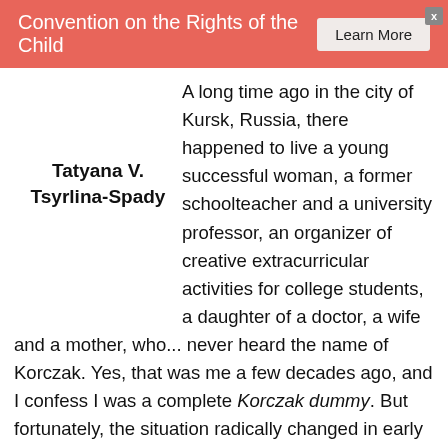Convention on the Rights of the Child   Learn More
Tatyana V. Tsyrlina-Spady
A long time ago in the city of Kursk, Russia, there happened to live a young successful woman, a former schoolteacher and a university professor, an organizer of creative extracurricular activities for college students, a daughter of a doctor, a wife and a mother, who... never heard the name of Korczak. Yes, that was me a few decades ago, and I confess I was a complete Korczak dummy. But fortunately, the situation radically changed in early